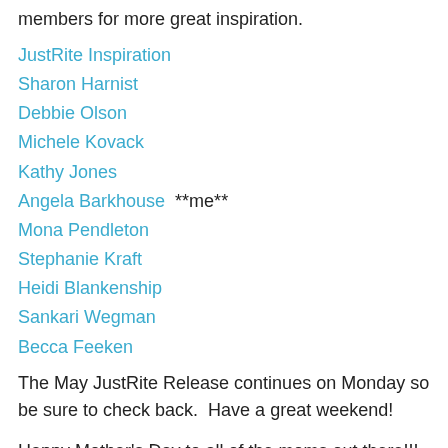members for more great inspiration.
JustRite Inspiration
Sharon Harnist
Debbie Olson
Michele Kovack
Kathy Jones
Angela Barkhouse  **me**
Mona Pendleton
Stephanie Kraft
Heidi Blankenship
Sankari Wegman
Becca Feeken
The May JustRite Release continues on Monday so be sure to check back.  Have a great weekend!
Happy Mother's Day to all of the moms out there!!!
Supplies:
Stamps:  JustRite Stampers - Sending You Sunshine